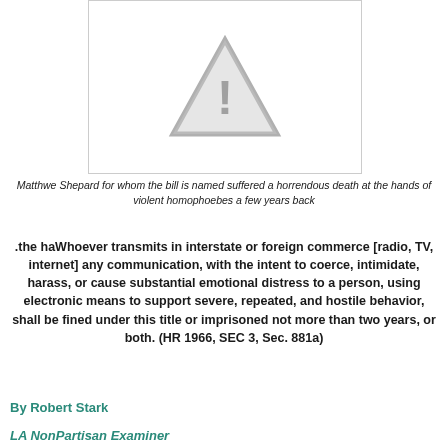[Figure (other): Placeholder image with a grey warning triangle (exclamation mark) on white background with grey border]
Matthwe Shepard for whom the bill is named suffered a horrendous death at the hands of violent homophoebes a few years back
.the haWhoever transmits in interstate or foreign commerce [radio, TV, internet] any communication, with the intent to coerce, intimidate, harass, or cause substantial emotional distress to a person, using electronic means to support severe, repeated, and hostile behavior, shall be fined under this title or imprisoned not more than two years, or both. (HR 1966, SEC 3, Sec. 881a)
By Robert Stark
LA NonPartisan Examiner